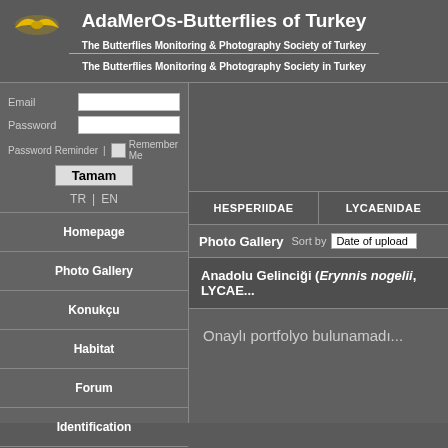[Figure (logo): Yellow bird/butterfly logo on dark background]
AdaMerOs-Butterflies of Turkey
The Butterflies Monitoring & Photography Society of Turkey
The Butterflies Monitoring & Photography Society in Turkey
Email | Password | Password Reminder | Remember Me | Tamam | TR | EN
Homepage
Photo Gallery
Konukçu
Habitat
Forum
Identification
HESPERIIDAE
LYCAENIDAE
Photo Gallery  Sort by  Date of upload
Anadolu Gelinciği (Erynnis nogelii, LYCAE...
Onaylı portfolyo bulunamadı...